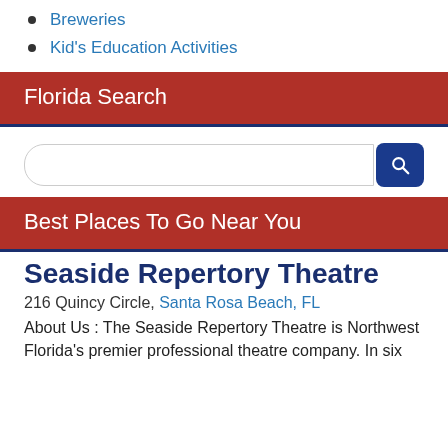Breweries
Kid's Education Activities
Florida Search
Best Places To Go Near You
Seaside Repertory Theatre
216 Quincy Circle, Santa Rosa Beach, FL
About Us : The Seaside Repertory Theatre is Northwest Florida's premier professional theatre company. In six